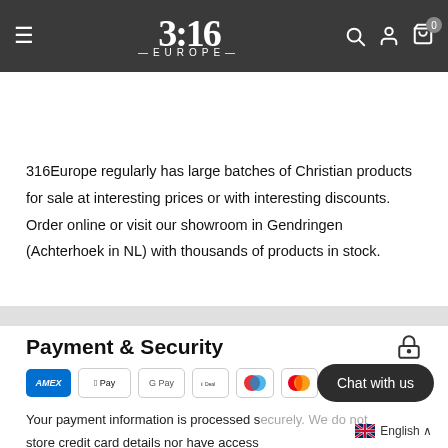3:16 EUROPE navigation bar with hamburger menu, search, account, and cart icons
316Europe regularly has large batches of Christian products for sale at interesting prices or with interesting discounts. Order online or visit our showroom in Gendringen (Achterhoek in NL) with thousands of products in stock.
Payment & Security
[Figure (logo): Payment method logos: American Express, Apple Pay, Google Pay, iDEAL, Maestro, Mastercard, Shop Pay, Visa]
Your payment information is processed s... store credit card details nor have access... information.